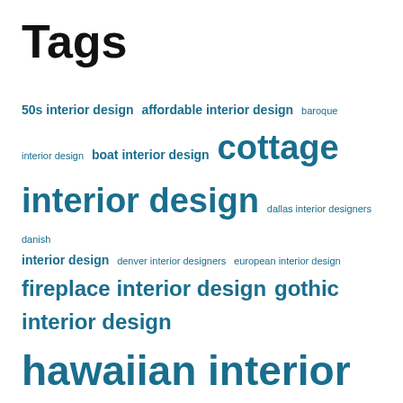Tags
50s interior design affordable interior design baroque interior design boat interior design cottage interior design dallas interior designers danish interior design denver interior designers european interior design fireplace interior design gothic interior design hawaiian interior design houston interior designers interior design career interior design certification interior design